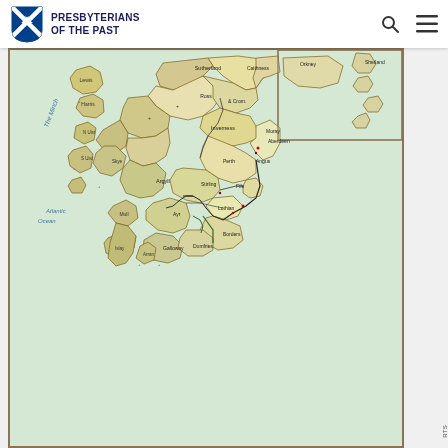Presbyterians of the Past
[Figure (map): Historical map of Scotland showing counties, regions, and geographical features including the Western Isles, Highlands, Lowlands, Orkney and Shetland inset. The map uses color coding (pale yellow, pink, green) to distinguish regions. Various town and county names are labeled throughout. The map appears to be from a historical atlas, showing place names in small print across all of Scotland.]